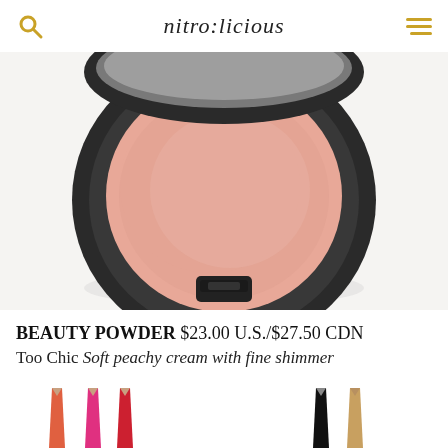nitro:licious
[Figure (photo): Open MAC Beauty Powder compact with a round pink blush pan inside a black case, shown with the lid open and a clasp at the bottom center. The compact is displayed against a white/light grey background.]
BEAUTY POWDER $23.00 U.S./$27.50 CDN
Too Chic Soft peachy cream with fine shimmer
[Figure (photo): Row of cosmetic pencils/eyeliners partially visible at the bottom of the page — coral/orange, pink, red on the left; black and tan/nude on the right.]